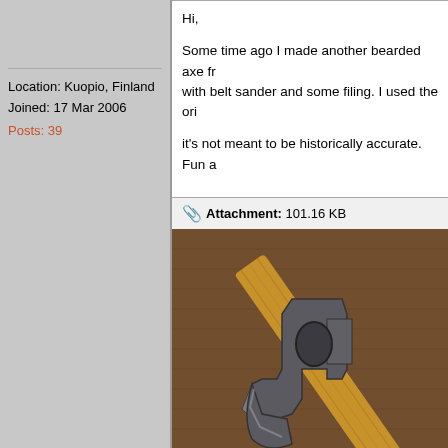Location: Kuopio, Finland
Joined: 17 Mar 2006
Posts: 39
Hi,

Some time ago I made another bearded axe fr... with belt sander and some filing. I used the ori...

it's not meant to be historically accurate. Fun a...
Attachment: 101.16 KB
[Figure (photo): A bearded axe head made of metal with a wooden handle, resting on a brown textured fabric surface. The axe has a distinctive bearded shape with a lower swept blade.]